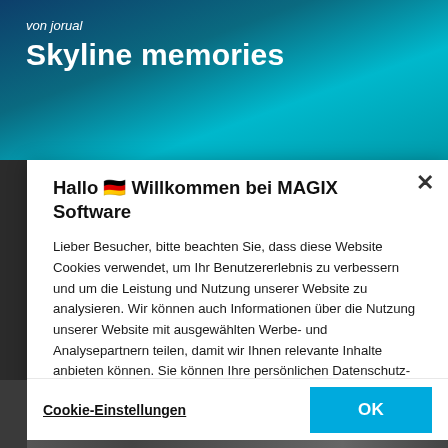[Figure (screenshot): Background header image with teal/blue ocean or water gradient behind header text]
von jorual
Skyline memories
[Figure (screenshot): Cookie consent modal dialog overlay on website screenshot]
Hallo 🇩🇪 Willkommen bei MAGIX Software
Lieber Besucher, bitte beachten Sie, dass diese Website Cookies verwendet, um Ihr Benutzererlebnis zu verbessern und um die Leistung und Nutzung unserer Website zu analysieren. Wir können auch Informationen über die Nutzung unserer Website mit ausgewählten Werbe- und Analysepartnern teilen, damit wir Ihnen relevante Inhalte anbieten können. Sie können Ihre persönlichen Datenschutz-Präferenzen unter der Option "Cookie-Einstellungen" festlegen.
Impressum und Datenschutz
Cookie-Einstellungen
OK